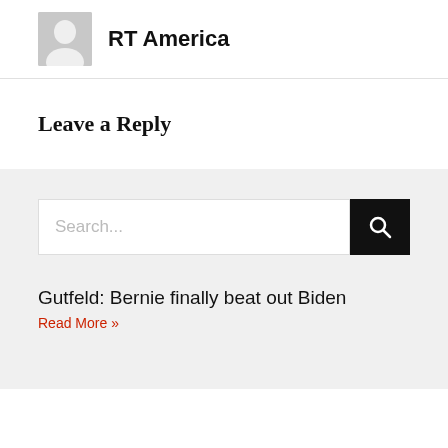[Figure (illustration): Gray placeholder avatar icon (silhouette of a person) next to author name RT America]
RT America
Leave a Reply
[Figure (screenshot): Search bar with placeholder text 'Search...' and a black search button with magnifying glass icon]
Gutfeld: Bernie finally beat out Biden
Read More »